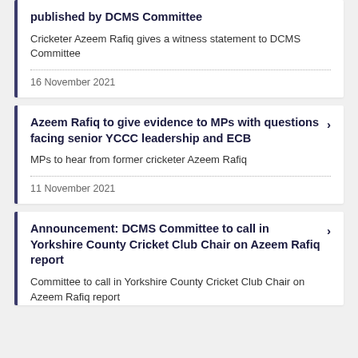published by DCMS Committee — Cricketer Azeem Rafiq gives a witness statement to DCMS Committee — 16 November 2021
Azeem Rafiq to give evidence to MPs with questions facing senior YCCC leadership and ECB — MPs to hear from former cricketer Azeem Rafiq — 11 November 2021
Announcement: DCMS Committee to call in Yorkshire County Cricket Club Chair on Azeem Rafiq report — Committee to call in Yorkshire County Cricket Club Chair on Azeem Rafiq report